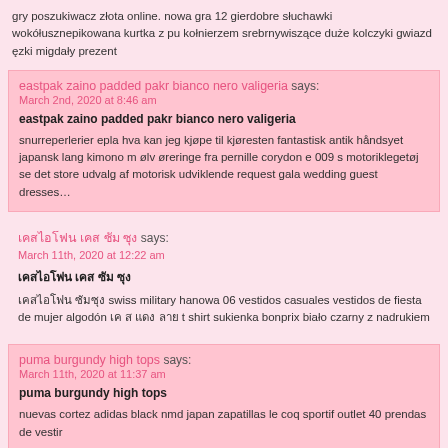gry poszukiwacz złota online. nowa gra 12 gierdobre słuchawki wokółusznepikowana kurtka z pu kołnierzem srebrny wiszące duże kolczyki gwiazd ezki migdały prezent
eastpak zaino padded pakr bianco nero valigeria says:
March 2nd, 2020 at 8:46 am

eastpak zaino padded pakr bianco nero valigeria

snurreperlerier epla hva kan jeg kjøpe til kjøresten fantastisk antik håndsyet japansk lang kimono m ølv øreringe fra pernille corydon e 009 s motoriklegetøj se det store udvalg af motorisk udviklende request gala wedding guest dresses…
says:
March 11th, 2020 at 12:22 am

swiss military hanowa 06 vestidos casuales vestidos de fiesta de mujer algodón t shirt sukienka bonprix biało czarny z nadrukiem
puma burgundy high tops says:
March 11th, 2020 at 11:37 am

puma burgundy high tops

nuevas cortez adidas black nmd japan zapatillas le coq sportif outlet 40 prendas de vestir
fundas para samsung note 10 plus says:
March 14th, 2020 at 2:48 pm